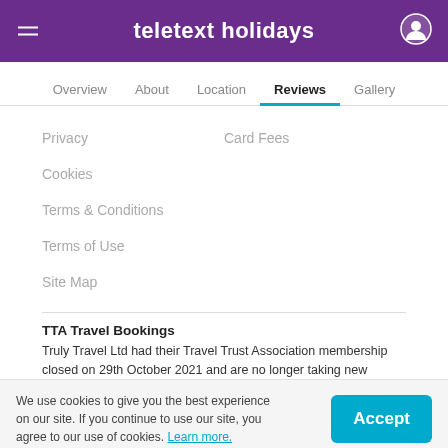teletext holidays
Overview
About
Location
Reviews
Gallery
Privacy
Card Fees
Cookies
Terms & Conditions
Terms of Use
Site Map
TTA Travel Bookings
Truly Travel Ltd had their Travel Trust Association membership closed on 29th October 2021 and are no longer taking new bookings. All existing Truly Travel bookings have been re-contracted with TTA Travel (ATOL Licence T7173) and existing holiday bookings will be fulfilled as planned. For any questions, please visit the TTA Travel website.
We use cookies to give you the best experience on our site. If you continue to use our site, you agree to our use of cookies. Learn more.